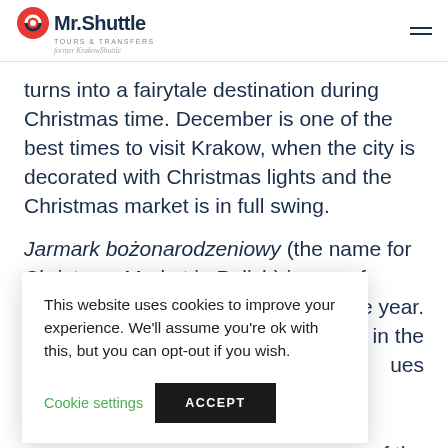Mr.Shuttle Tours & Transfers — former KrakowShuttle
turns into a fairytale destination during Christmas time. December is one of the best times to visit Krakow, when the city is decorated with Christmas lights and the Christmas market is in full swing.
Jarmark bożonarodzeniowy (the name for Christmas Market in Polish) is one of the year. ow in the ues
This website uses cookies to improve your experience. We'll assume you're ok with this, but you can opt-out if you wish.
Cookie settings | ACCEPT
e of the inds of